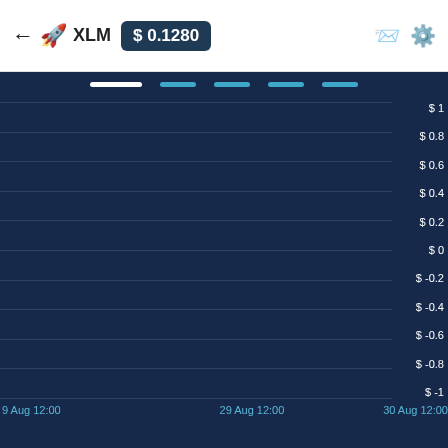← 🚀 XLM $ 0.1280
[Figure (continuous-plot): XLM price chart from 29 Aug 12:00 to 30 Aug 12:00, y-axis from $-1 to $1, with horizontal gridlines. The price line is not visible in the chart area (data appears flat near $0). Dark navy background with white and light blue UI elements.]